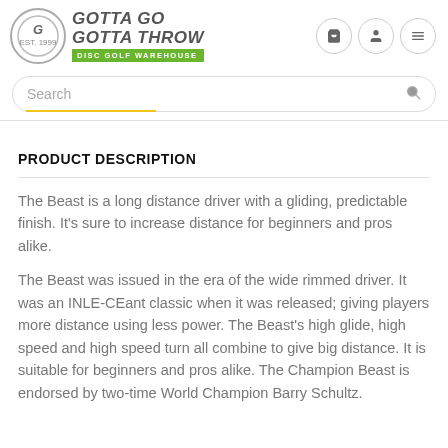[Figure (logo): Gotta Go Gotta Throw Disc Golf Warehouse logo with circular emblem and green banner]
Search
PRODUCT DESCRIPTION
The Beast is a long distance driver with a gliding, predictable finish. It's sure to increase distance for beginners and pros alike.
The Beast was issued in the era of the wide rimmed driver. It was an INLE-CEant classic when it was released; giving players more distance using less power. The Beast's high glide, high speed and high speed turn all combine to give big distance. It is suitable for beginners and pros alike. The Champion Beast is endorsed by two-time World Champion Barry Schultz.